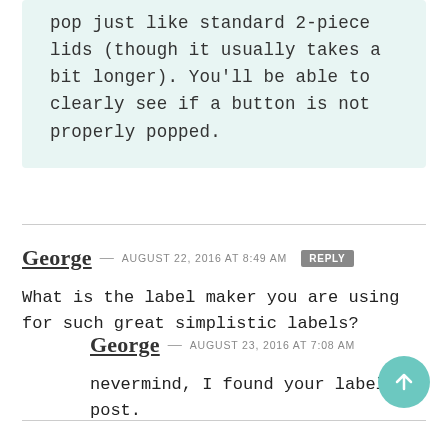pop just like standard 2-piece lids (though it usually takes a bit longer). You'll be able to clearly see if a button is not properly popped.
George — AUGUST 22, 2016 at 8:49 AM [REPLY]
What is the label maker you are using for such great simplistic labels?
George — AUGUST 23, 2016 at 7:08 AM
nevermind, I found your label post.